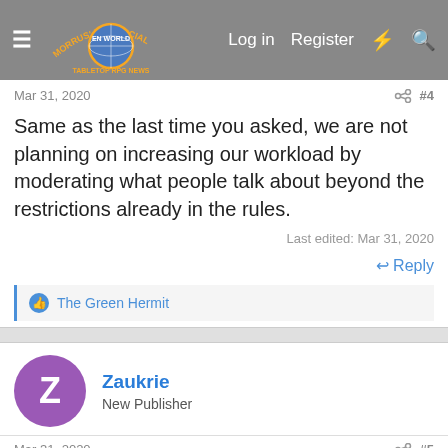Morrus' Unofficial Tabletop RPG News — Log in | Register
Mar 31, 2020  #4
Same as the last time you asked, we are not planning on increasing our workload by moderating what people talk about beyond the restrictions already in the rules.
Last edited: Mar 31, 2020
↩ Reply
👍 The Green Hermit
Zaukrie
New Publisher
Mar 31, 2020  #5
I really wish every thread about a campaign setting didn't go on to talk about the Realms, over and over, and over...